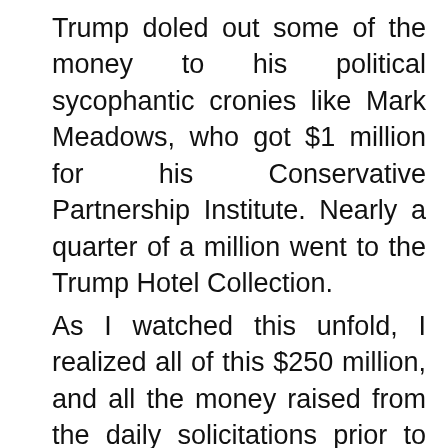Trump doled out some of the money to his political sycophantic cronies like Mark Meadows, who got $1 million for his Conservative Partnership Institute. Nearly a quarter of a million went to the Trump Hotel Collection.
As I watched this unfold, I realized all of this $250 million, and all the money raised from the daily solicitations prior to the election, had come in small donor donations from people around the country who had totally bought into the Cult of Trump. I pictured retired couples getting these